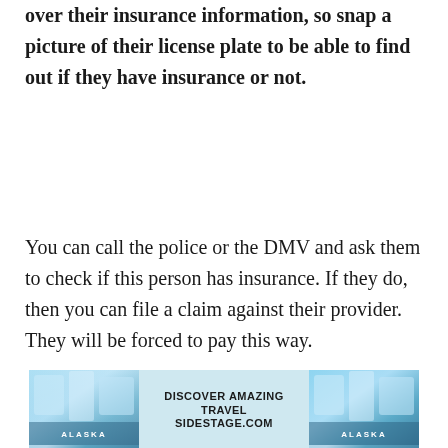over their insurance information, so snap a picture of their license plate to be able to find out if they have insurance or not.
You can call the police or the DMV and ask them to check if this person has insurance. If they do, then you can file a claim against their provider. They will be forced to pay this way.
If they do not have insurance, then you will have to file a claim against your provider. If you
[Figure (infographic): Advertisement banner for Sidestage.com showing Alaska travel imagery with text 'DISCOVER AMAZING TRAVEL SIDESTAGE.COM']